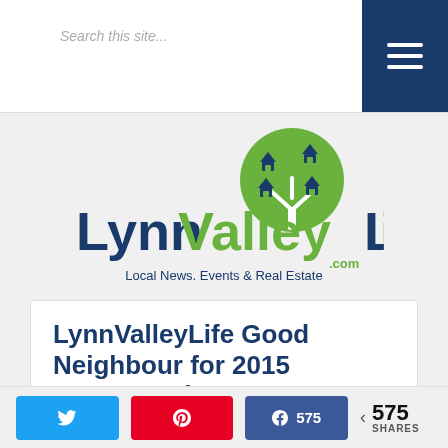Search this site...
[Figure (logo): LynnValleyLife.com logo — green tree circle with dark blue house icons, large text 'LynnValleyLife' in dark blue and green, '.com' in green, tagline 'Local News, Events & Real Estate' in dark blue]
LynnValleyLife Good Neighbour for 2015 announced!
575 SHARES